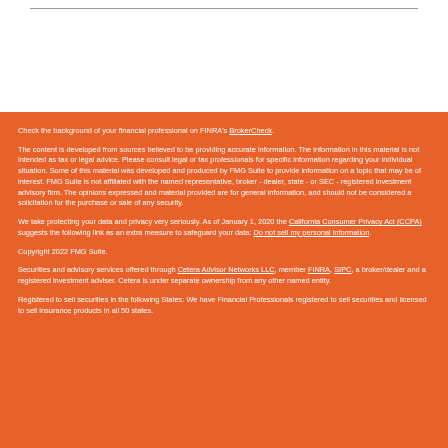Check the background of your financial professional on FINRA's BrokerCheck.
The content is developed from sources believed to be providing accurate information. The information in this material is not intended as tax or legal advice. Please consult legal or tax professionals for specific information regarding your individual situation. Some of this material was developed and produced by FMG Suite to provide information on a topic that may be of interest. FMG Suite is not affiliated with the named representative, broker - dealer, state - or SEC - registered investment advisory firm. The opinions expressed and material provided are for general information, and should not be considered a solicitation for the purchase or sale of any security.
We take protecting your data and privacy very seriously. As of January 1, 2020 the California Consumer Privacy Act (CCPA) suggests the following link as an extra measure to safeguard your data: Do not sell my personal information.
Copyright 2022 FMG Suite.
Securities and advisory services offered through Cetera Advisor Networks LLC, member FINRA, SIPC, a broker/dealer and a registered investment adviser. Cetera is under separate ownership from any other named entity.
Registered to sell securities in the following States: We have Financial Professionals registered to sell securities and licensed to sell insurance products in all 50 states.